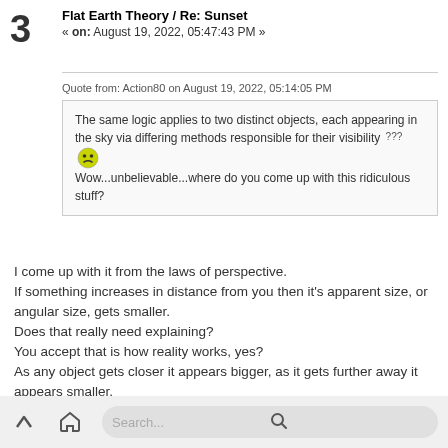3
Flat Earth Theory / Re: Sunset
« on: August 19, 2022, 05:47:43 PM »
Quote from: Action80 on August 19, 2022, 05:14:05 PM
The same logic applies to two distinct objects, each appearing in the sky via differing methods responsible for their visibility ??? 😕
Wow...unbelievable...where do you come up with this ridiculous stuff?
I come up with it from the laws of perspective. If something increases in distance from you then it's apparent size, or angular size, gets smaller. Does that really need explaining?
You accept that is how reality works, yes?
As any object gets closer it appears bigger, as it gets further away it appears smaller.

In your model the sun and moon are much further away when on the horizon than when high in the sky, yes?
Search...